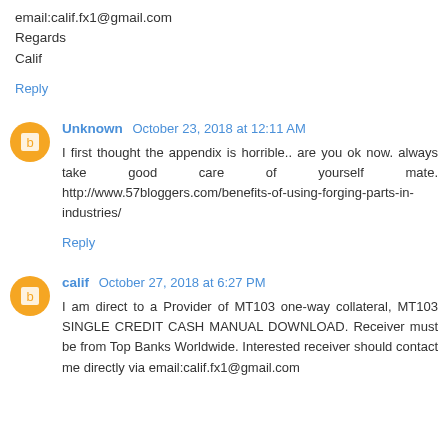email:calif.fx1@gmail.com
Regards
Calif
Reply
Unknown October 23, 2018 at 12:11 AM
I first thought the appendix is horrible.. are you ok now. always take good care of yourself mate. http://www.57bloggers.com/benefits-of-using-forging-parts-in-industries/
Reply
calif October 27, 2018 at 6:27 PM
I am direct to a Provider of MT103 one-way collateral, MT103 SINGLE CREDIT CASH MANUAL DOWNLOAD. Receiver must be from Top Banks Worldwide. Interested receiver should contact me directly via email:calif.fx1@gmail.com